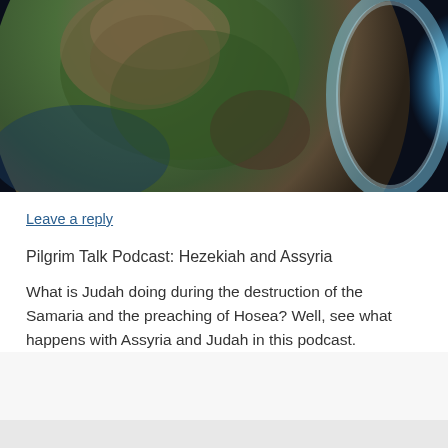[Figure (photo): A dramatic aerial/satellite view of the Earth showing Africa and surrounding regions, with a glowing blue atmosphere on the right side. Dark background, green landmass, blue ocean.]
Leave a reply
Pilgrim Talk Podcast: Hezekiah and Assyria
What is Judah doing during the destruction of the Samaria and the preaching of Hosea? Well, see what happens with Assyria and Judah in this podcast.